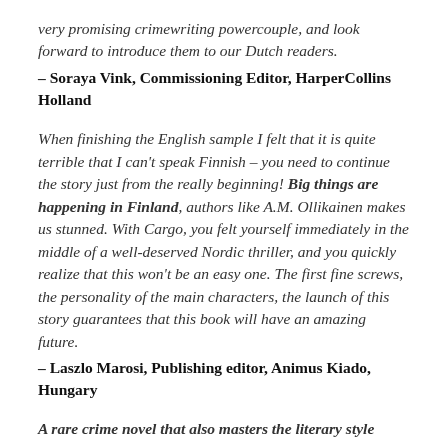very promising crimewriting powercouple, and look forward to introduce them to our Dutch readers.
– Soraya Vink, Commissioning Editor, HarperCollins Holland
When finishing the English sample I felt that it is quite terrible that I can't speak Finnish – you need to continue the story just from the really beginning! Big things are happening in Finland, authors like A.M. Ollikainen makes us stunned. With Cargo, you felt yourself immediately in the middle of a well-deserved Nordic thriller, and you quickly realize that this won't be an easy one. The first fine screws, the personality of the main characters, the launch of this story guarantees that this book will have an amazing future.
– Laszlo Marosi, Publishing editor, Animus Kiado, Hungary
A rare crime novel that also masters the literary style